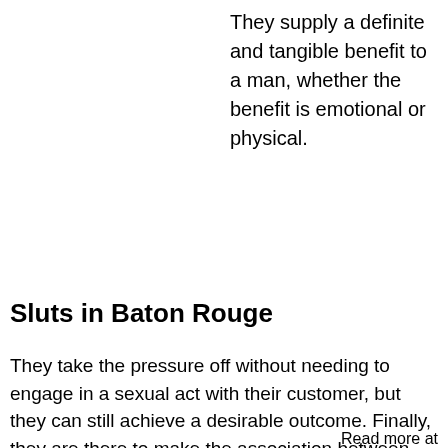They supply a definite and tangible benefit to a man, whether the benefit is emotional or physical.
Sluts in Baton Rouge
They take the pressure off without needing to engage in a sexual act with their customer, but they can still achieve a desirable outcome. Finally, they are there to make the association between their client and his desired partner as enjoyable as possible.
Read more at